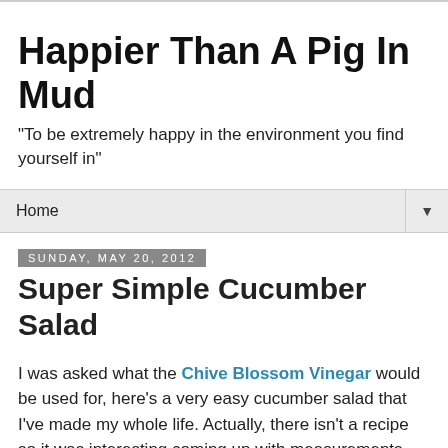Happier Than A Pig In Mud
"To be extremely happy in the environment you find yourself in"
Home ▼
Sunday, May 20, 2012
Super Simple Cucumber Salad
I was asked what the Chive Blossom Vinegar would be used for, here's a very easy cucumber salad that I've made my whole life. Actually, there isn't a recipe so it was interesting coming up with measurements.
 I worked with a woman that said her family called this Soggy Cucumbers-got a chuckle out of that!